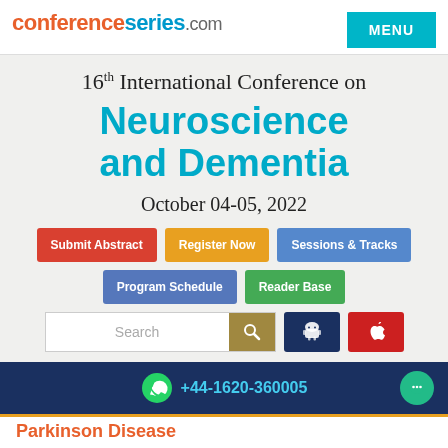conferenceseries.com
16th International Conference on Neuroscience and Dementia
October 04-05, 2022
Submit Abstract
Register Now
Sessions & Tracks
Program Schedule
Reader Base
+44-1620-360005
Parkinson Disease